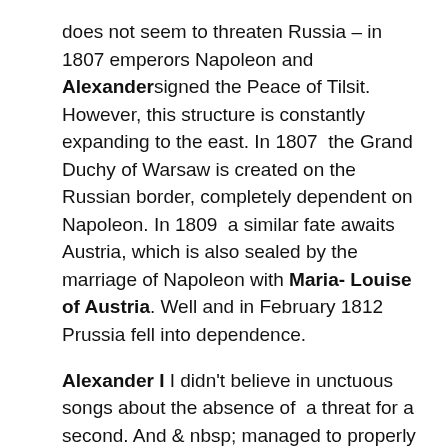does not seem to threaten Russia – in 1807 emperors Napoleon and Alexander signed the Peace of Tilsit. However, this structure is constantly expanding to the east. In 1807  the Grand Duchy of Warsaw is created on the Russian border, completely dependent on Napoleon. In 1809  a similar fate awaits Austria, which is also sealed by the  marriage of Napoleon with Maria-Louise of Austria. Well and in February 1812  Prussia fell into dependence.
Alexander I I didn't believe in unctuous songs about the absence of a threat for a second. And & nbsp; managed to properly use the time allotted to him by fate. First of all, he secured the empire from the flanks. In 1809  following the results of the war with Sweden, Russia received Finland –